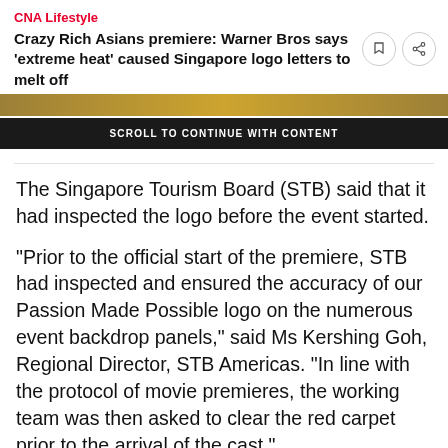CNA Lifestyle
Crazy Rich Asians premiere: Warner Bros says 'extreme heat' caused Singapore logo letters to melt off
[Figure (screenshot): Scroll to continue with content banner overlay on an image]
The Singapore Tourism Board (STB) said that it had inspected the logo before the event started.
"Prior to the official start of the premiere, STB had inspected and ensured the accuracy of our Passion Made Possible logo on the numerous event backdrop panels," said Ms Kershing Goh, Regional Director, STB Americas. "In line with the protocol of movie premieres, the working team was then asked to clear the red carpet prior to the arrival of the cast."